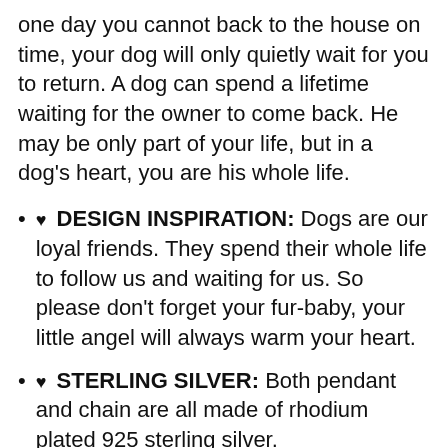one day you cannot back to the house on time, your dog will only quietly wait for you to return. A dog can spend a lifetime waiting for the owner to come back. He may be only part of your life, but in a dog's heart, you are his whole life.
♥ DESIGN INSPIRATION: Dogs are our loyal friends. They spend their whole life to follow us and waiting for us. So please don't forget your fur-baby, your little angel will always warm your heart.
♥ STERLING SILVER: Both pendant and chain are all made of rhodium plated 925 sterling silver.
It won't give a cheap impression and don't cause any skin allergies.